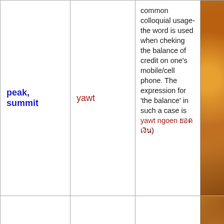| English | Romanized | Thai script | Visual |
| --- | --- | --- | --- |
| peak, summit | yawt | common colloquial usage- the word is used when cheking the balance of credit on one's mobile/cell phone. The expression for 'the balance' in such a case is yawt ngoen ยอดเงิน) |  |  |
| peanut | thua li-song | ถั่วลิสง |  |
| pearl | khai muk | ไข่มุก |  |